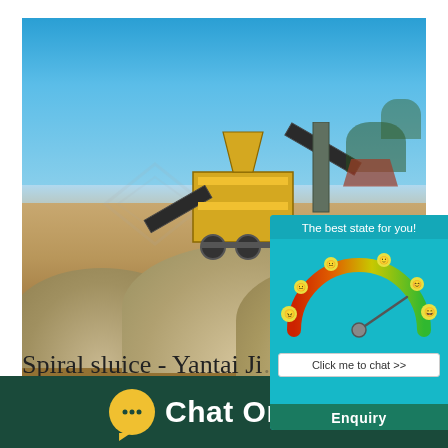[Figure (photo): Outdoor mining/quarry site with large yellow mobile crushing and screening machinery, surrounded by gravel piles, blue sky with clouds in background. A watermark logo (diamond shape) is overlaid on the image.]
[Figure (infographic): Chat widget overlay showing a satisfaction gauge/meter with emoji faces ranging from angry to happy around the dial, needle pointing toward the happy end. Text says 'The best state for you!' at top and 'Click me to chat >>' and 'Enquiry' below.]
Spiral sluice - Yantai Ji...
[Figure (infographic): Footer bar with dark green background showing a yellow chat bubble icon with ellipsis and the text 'Chat Online' in white bold letters.]